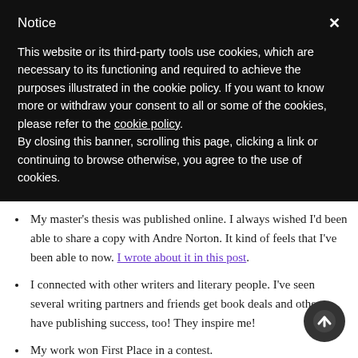Notice
This website or its third-party tools use cookies, which are necessary to its functioning and required to achieve the purposes illustrated in the cookie policy. If you want to know more or withdraw your consent to all or some of the cookies, please refer to the cookie policy.
By closing this banner, scrolling this page, clicking a link or continuing to browse otherwise, you agree to the use of cookies.
My master's thesis was published online. I always wished I'd been able to share a copy with Andre Norton. It kind of feels that I've been able to now. I wrote about it in this post.
I connected with other writers and literary people. I've seen several writing partners and friends get book deals and others have publishing success, too! They inspire me!
My work won First Place in a contest.
Love found me again. A long-time friendship became